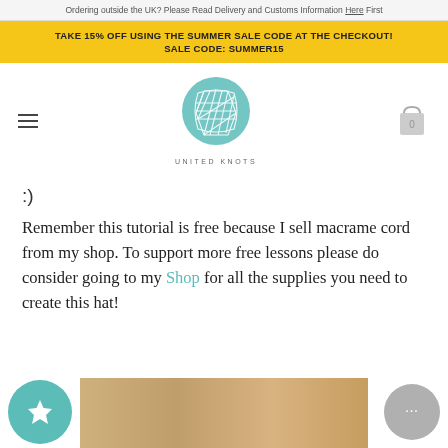Ordering outside the UK? Please Read Delivery and Customs Information Here First
TAKE 15% OFF USING THE SUMMER SALE CODE AT THE CHECKOUT! SALE CODE: SUMMER15
[Figure (logo): United Knots logo — teal circular geometric knot pattern with 'UNITED KNOTS' text below]
:)
Remember this tutorial is free because I sell macrame cord from my shop. To support more free lessons please do consider going to my Shop for all the supplies you need to create this hat!
[Figure (photo): Bottom portion showing macrame cord and a white hat shape]